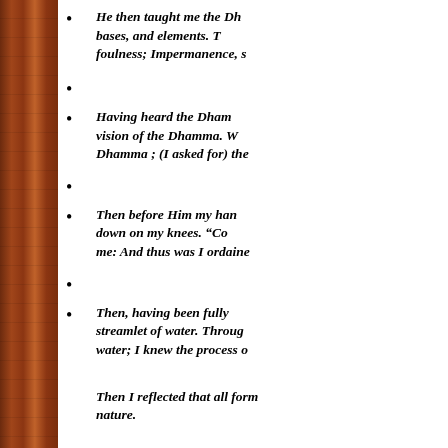He then taught me the Dh bases, and elements. T foulness; Impermanence, s
Having heard the Dham vision of the Dhamma. W Dhamma ; (I asked for) the
Then before Him my han down on my knees. “Co me: And thus was I ordaine
Then, having been fully streamlet of water. Throug water; I knew the process o
Then I reflected that all form nature.
Right on the spot my